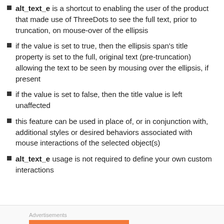alt_text_e is a shortcut to enabling the user of the product that made use of ThreeDots to see the full text, prior to truncation, on mouse-over of the ellipsis
if the value is set to true, then the ellipsis span's title property is set to the full, original text (pre-truncation) allowing the text to be seen by mousing over the ellipsis, if present
if the value is set to false, then the title value is left unaffected
this feature can be used in place of, or in conjunction with, additional styles or desired behaviors associated with mouse interactions of the selected object(s)
alt_text_e usage is not required to define your own custom interactions
Advertisements